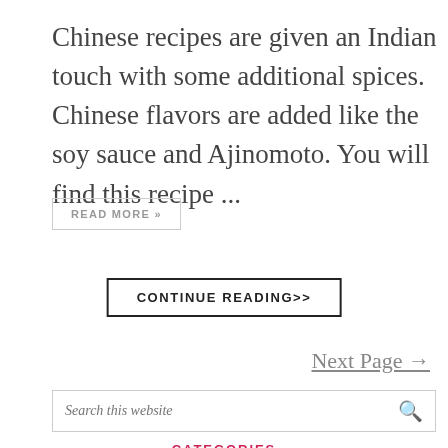Chinese recipes are given an Indian touch with some additional spices.  Chinese flavors are added like the soy sauce and Ajinomoto. You will find this recipe ...
READ MORE »
CONTINUE READING>>
Next Page →
Search this website
CATEGORIES